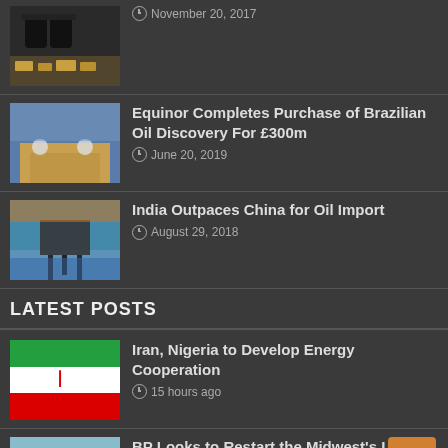[Figure (photo): Oil barrels and cash money — partial top article thumbnail]
November 20, 2017
[Figure (photo): Two men at meeting table with world map in background — Equinor article]
Equinor Completes Purchase of Brazilian Oil Discovery For £300m
June 20, 2019
[Figure (photo): Offshore oil platform at sunset — India article]
India Outpaces China for Oil Import
August 29, 2018
LATEST POSTS
[Figure (photo): Iranian flag — Iran Nigeria article]
Iran, Nigeria to Develop Energy Cooperation
15 hours ago
[Figure (photo): BP branded storage tank — BP article]
BP Looks to Restart the Midwest's Largest Refinery
19 hours ago
[Figure (photo): Partial thumbnail — Iran Ready to Increase Oil Exports with]
Iran Ready to Increase Oil Exports with